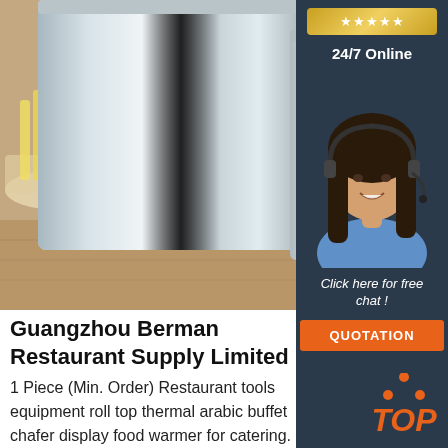[Figure (photo): Stainless steel food warmers/thermal containers on a wooden surface with food items visible on the left side]
[Figure (infographic): Sidebar with dark navy background showing a gold star badge, '24/7 Online' text, a smiling female customer service agent with headset, 'Click here for free chat!' text, and an orange QUOTATION button]
Guangzhou Berman Restaurant Supply Limited
1 Piece (Min. Order) Restaurant tools equipment roll top thermal arabic buffet chafer display food warmer for catering. $38.00 - $48.00 Piece. 1 Piece (Min. Order) Factory reasonable price stainless steel 18/10 square chafing dish electric heater buffet food warmer
[Figure (logo): Orange TOP badge with triangular dot pattern above the word TOP]